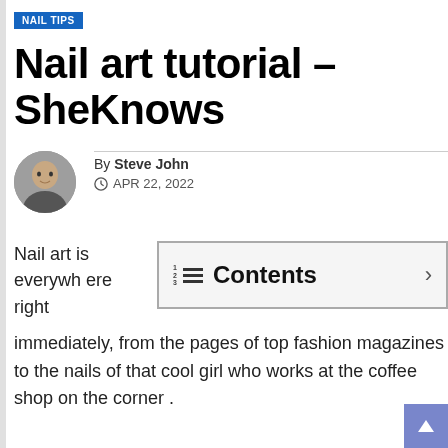NAIL TIPS
Nail art tutorial – SheKnows
By Steve John
APR 22, 2022
Nail art is everywhere right immediately, from the pages of top fashion magazines to the nails of that cool girl who works at the coffee shop on the corner .